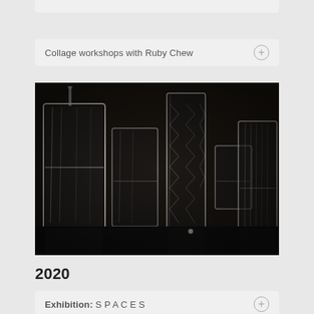Collage workshops with Ruby Chew
[Figure (photo): Black and white photograph of multiple glass tumblers and crystal vases arranged on a dark reflective surface, with water being poured into one glass. The image is moody and atmospheric.]
2020
Exhibition: S P A C E S